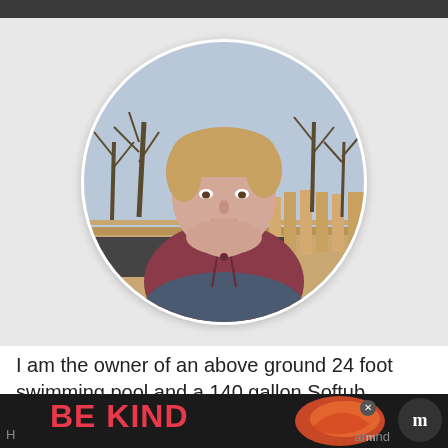[Figure (photo): Circular profile photo of a man wearing a maroon/burgundy hoodie with dark blue panel at the bottom, standing outdoors with trees and a wooden fence in the background.]
I am the owner of an above ground 24 foot swimming pool and a 140 gallon Softub.
[Figure (infographic): Advertisement banner showing 'BE KIND' in large colorful letters with decorative illustration and an X close button. Partially visible text beneath the banner.]